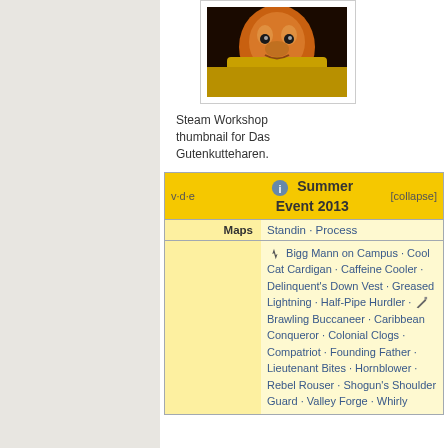[Figure (photo): Steam Workshop thumbnail image for Das Gutenkutteharen, showing a character with orange/yellow tones]
Steam Workshop thumbnail for Das Gutenkutteharen.
| v·d·e | Summer Event 2013 | [collapse] |
| --- | --- | --- |
| Maps | Standin · Process |
|  | 🎓 Bigg Mann on Campus · Cool Cat Cardigan · Caffeine Cooler · Delinquent's Down Vest · Greased Lightning · Half-Pipe Hurdler · ✏ Brawling Buccaneer · Caribbean Conqueror · Colonial Clogs · Compatriot · Founding Father · Lieutenant Bites · Hornblower · Rebel Rouser · Shogun's Shoulder Guard · Valley Forge · Whirly |